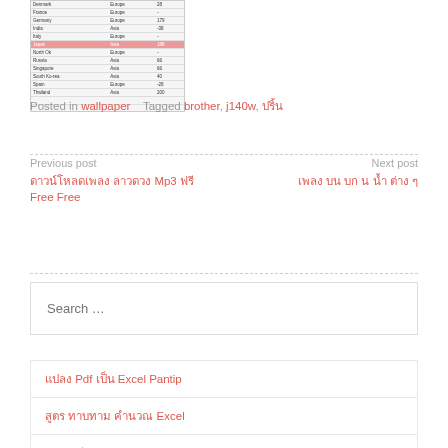[Figure (table-as-image): Small table thumbnail showing country data with columns including country name, region, and numeric values. One row highlighted in orange/tan and another in red.]
Posted in wallpaper   Tagged brother, j140w, ปริ้น
Previous post
ดาวน์โหลดเพลง ลาวดวง Mp3 ฟรี Free Free
Next post
เพลง บน บก น น้ำ ต่าง ๆ
Search …
แปลง Pdf เป็น Excel Pantip
สูตร ทาบทาม คำนวณ Excel
Excel ขีด กลาง